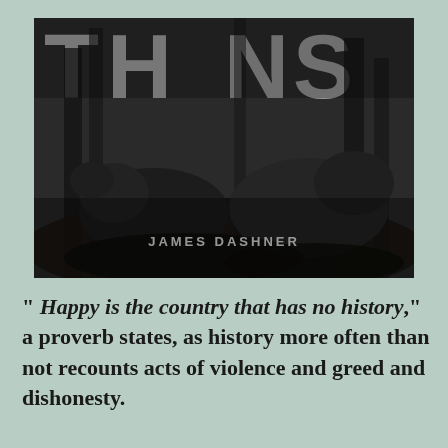[Figure (illustration): Black and white book cover showing bears in a forest with large letters partially visible at top. Author name 'JAMES DASHNER' visible at bottom center.]
" "Happy is the country that has no history," a proverb states, as history more often than not recounts acts of violence and greed and dishonesty.